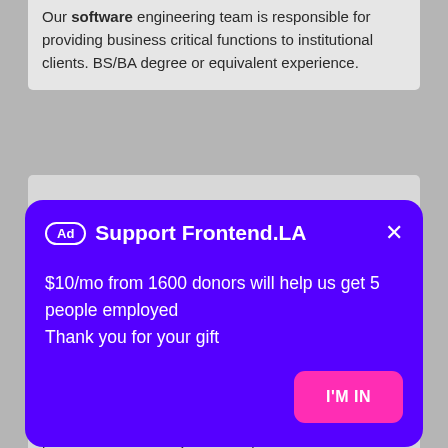Our software engineering team is responsible for providing business critical functions to institutional clients. BS/BA degree or equivalent experience.
[Figure (screenshot): Advertisement overlay card on purple background with title 'Ad Support Frontend.LA', body text '$10/mo from 1600 donors will help us get 5 people employed Thank you for your gift', and a pink 'I'M IN' button]
prioritization internally and with partners.
[Figure (logo): Small circular icon with flame/swirl design in teal color, and an arrow icon in the upper right]